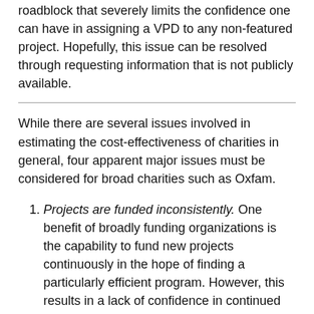roadblock that severely limits the confidence one can have in assigning a VPD to any non-featured project. Hopefully, this issue can be resolved through requesting information that is not publicly available.
While there are several issues involved in estimating the cost-effectiveness of charities in general, four apparent major issues must be considered for broad charities such as Oxfam.
Projects are funded inconsistently. One benefit of broadly funding organizations is the capability to fund new projects continuously in the hope of finding a particularly efficient program. However, this results in a lack of confidence in continued funding levels for projects.
Analysis takes time. Whereas focused groups require a single investigation, broad charities might require scrutiny of each project they fund.